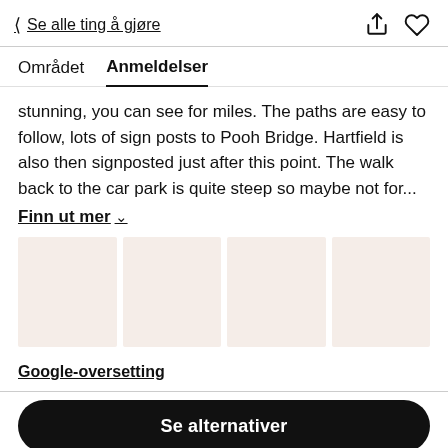< Se alle ting å gjøre
Området   Anmeldelser
stunning, you can see for miles. The paths are easy to follow, lots of sign posts to Pooh Bridge. Hartfield is also then signposted just after this point. The walk back to the car park is quite steep so maybe not for...
Finn ut mer ∨
[Figure (photo): Four placeholder image tiles in a horizontal strip with a light pinkish-beige background color]
Google-oversetting
Se alternativer